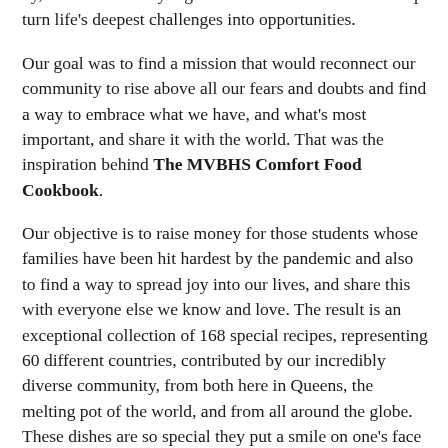by, or we could rally together with a call to action to help turn life's deepest challenges into opportunities.
Our goal was to find a mission that would reconnect our community to rise above all our fears and doubts and find a way to embrace what we have, and what's most important, and share it with the world. That was the inspiration behind The MVBHS Comfort Food Cookbook.
Our objective is to raise money for those students whose families have been hit hardest by the pandemic and also to find a way to spread joy into our lives, and share this with everyone else we know and love. The result is an exceptional collection of 168 special recipes, representing 60 different countries, contributed by our incredibly diverse community, from both here in Queens, the melting pot of the world, and from all around the globe. These dishes are so special they put a smile on one's face as soon as one knows it's on the menu.
The MVBHS community is intent on spreading a dose of much needed hope as part of our Million Cookbook Giveaway. We are doing this as a token of thanks for the global support we are receiving, and to provide the only hug possible in a period of social distancing, one of